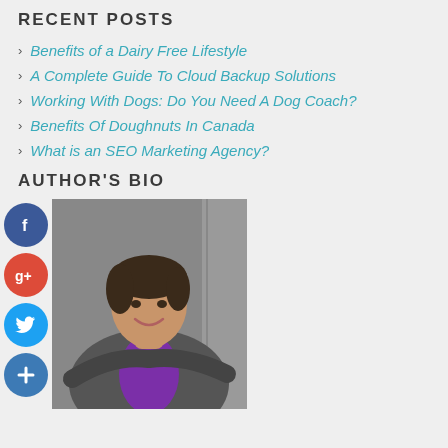RECENT POSTS
Benefits of a Dairy Free Lifestyle
A Complete Guide To Cloud Backup Solutions
Working With Dogs: Do You Need A Dog Coach?
Benefits Of Doughnuts In Canada
What is an SEO Marketing Agency?
AUTHOR'S BIO
[Figure (photo): Author photo of a woman in a gray blazer with purple shirt, arms crossed, smiling, with social media icons (Facebook, Google+, Twitter, plus) overlaid on the left side]